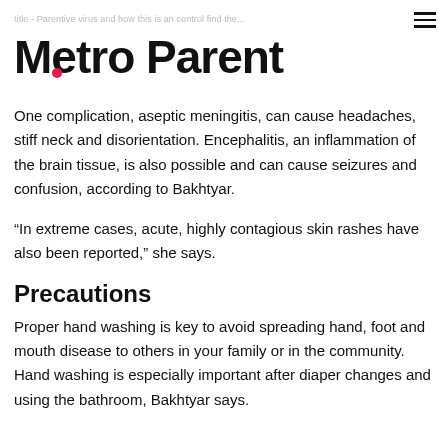Metro Parent
One complication, aseptic meningitis, can cause headaches, stiff neck and disorientation. Encephalitis, an inflammation of the brain tissue, is also possible and can cause seizures and confusion, according to Bakhtyar.
“In extreme cases, acute, highly contagious skin rashes have also been reported,” she says.
Precautions
Proper hand washing is key to avoid spreading hand, foot and mouth disease to others in your family or in the community. Hand washing is especially important after diaper changes and using the bathroom, Bakhtyar says.